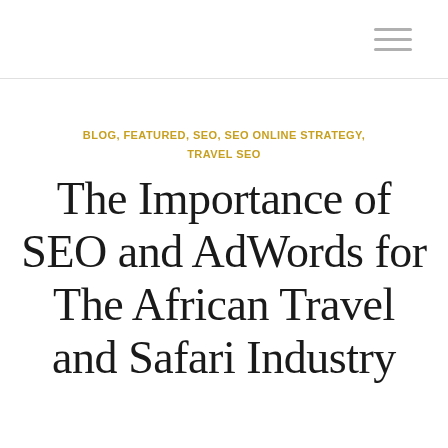BLOG, FEATURED, SEO, SEO ONLINE STRATEGY, TRAVEL SEO
The Importance of SEO and AdWords for The African Travel and Safari Industry